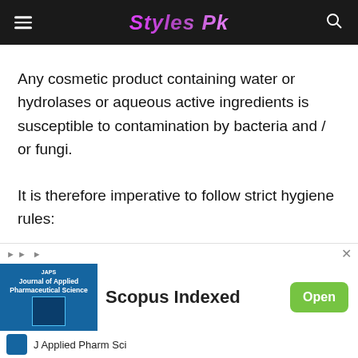Styles Pk
Any cosmetic product containing water or hydrolases or aqueous active ingredients is susceptible to contamination by bacteria and / or fungi.
It is therefore imperative to follow strict hygiene rules:
[Figure (other): Chevron/down arrow button UI element]
[Figure (other): Advertisement banner for Journal of Applied Pharmaceutical Science - Scopus Indexed, with Open button]